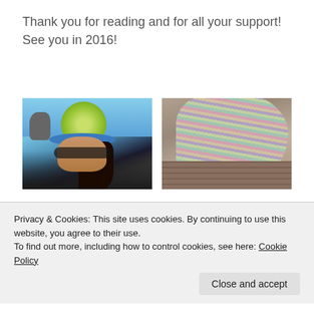Thank you for reading and for all your support!  See you in 2016!
[Figure (photo): Person wearing a green knit hat with blue brim, sunglasses, dark hair, outdoors near water with a rock formation in background]
[Figure (photo): Colorful striped knitted socks resting on wooden planks/deck]
[Figure (photo): Partially visible quilt with floral pattern in red, green, and orange diamond shapes with pink flowers]
[Figure (photo): Partially visible image with green tones at bottom right]
Privacy & Cookies: This site uses cookies. By continuing to use this website, you agree to their use.
To find out more, including how to control cookies, see here: Cookie Policy